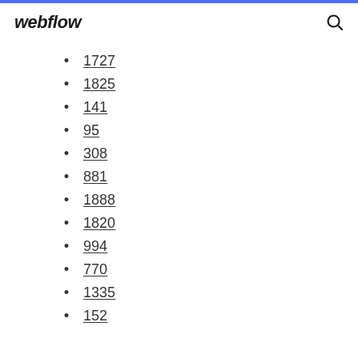webflow
1727
1825
141
95
308
881
1888
1820
994
770
1335
152